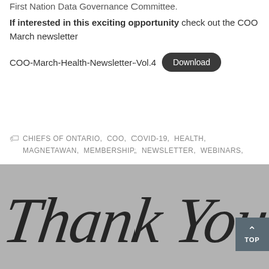First Nation Data Governance Committee.
If interested in this exciting opportunity check out the COO March newsletter
COO-March-Health-Newsletter-Vol.4  Download
CHIEFS OF ONTARIO, COO, COVID-19, HEALTH, MAGNETAWAN, MEMBERSHIP, NEWSLETTER, WEBINARS,
[Figure (illustration): Thank You written in cursive script on a grey background, with a 'TOP' navigation button in the bottom right corner.]